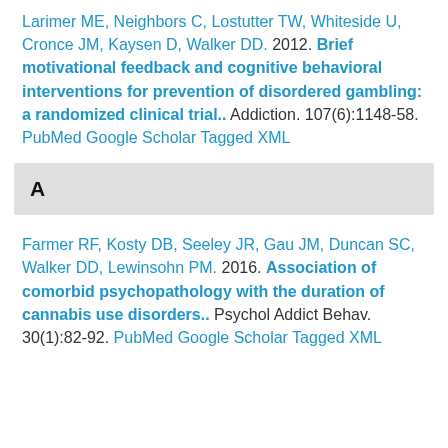Larimer ME, Neighbors C, Lostutter TW, Whiteside U, Cronce JM, Kaysen D, Walker DD.  2012.  Brief motivational feedback and cognitive behavioral interventions for prevention of disordered gambling: a randomized clinical trial..  Addiction. 107(6):1148-58.  PubMed  Google Scholar  Tagged  XML
A
Farmer RF, Kosty DB, Seeley JR, Gau JM, Duncan SC, Walker DD, Lewinsohn PM.  2016.  Association of comorbid psychopathology with the duration of cannabis use disorders..  Psychol Addict Behav. 30(1):82-92.  PubMed  Google Scholar  Tagged  XML